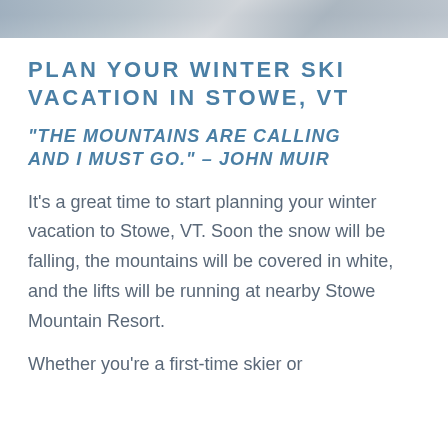[Figure (photo): Partial scenic mountain/snow photo strip at the top of the page]
PLAN YOUR WINTER SKI VACATION IN STOWE, VT
“THE MOUNTAINS ARE CALLING AND I MUST GO.” – JOHN MUIR
It’s a great time to start planning your winter vacation to Stowe, VT. Soon the snow will be falling, the mountains will be covered in white, and the lifts will be running at nearby Stowe Mountain Resort.
Whether you’re a first-time skier or